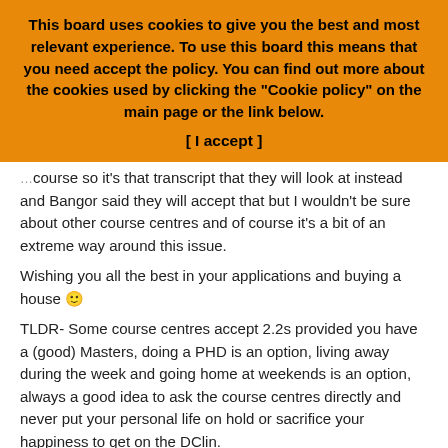This board uses cookies to give you the best and most relevant experience. To use this board this means that you need accept the policy. You can find out more about the cookies used by clicking the "Cookie policy" on the main page or the link below.
[ I accept ]
course so it's that transcript that they will look at instead and Bangor said they will accept that but I wouldn't be sure about other course centres and of course it's a bit of an extreme way around this issue.
Wishing you all the best in your applications and buying a house 😀
TLDR- Some course centres accept 2.2s provided you have a (good) Masters, doing a PHD is an option, living away during the week and going home at weekends is an option, always a good idea to ask the course centres directly and never put your personal life on hold or sacrifice your happiness to get on the DClin.
rachiepsy96
Re: Move/commute for DClinPsy advice?
Mon May 23, 2022 9:20 am
This time last year I moved 150 miles away from my friends and family for